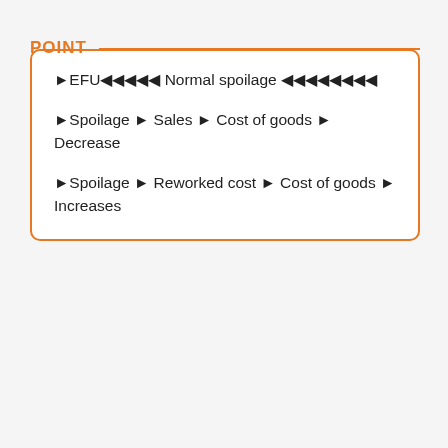POINT
►EFU◄◄◄◄◄ Normal spoilage ◄◄◄◄◄◄◄◄
►Spoilage ► Sales ► Cost of goods ► Decrease
►Spoilage ► Reworked cost ► Cost of goods ► Increases